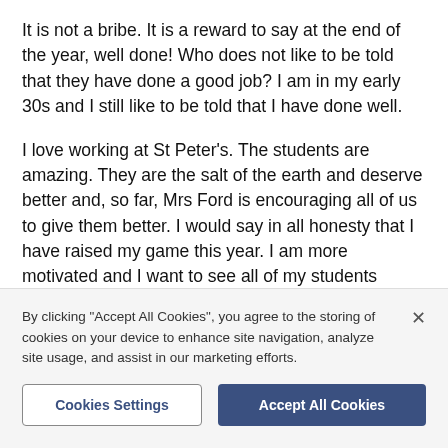It is not a bribe. It is a reward to say at the end of the year, well done! Who does not like to be told that they have done a good job? I am in my early 30s and I still like to be told that I have done well.
I love working at St Peter's. The students are amazing. They are the salt of the earth and deserve better and, so far, Mrs Ford is encouraging all of us to give them better. I would say in all honesty that I have raised my game this year. I am more motivated and I want to see all of my students succeed more than ever. I hope to stay at St Peter's for a few more years now - it is a
By clicking "Accept All Cookies", you agree to the storing of cookies on your device to enhance site navigation, analyze site usage, and assist in our marketing efforts.